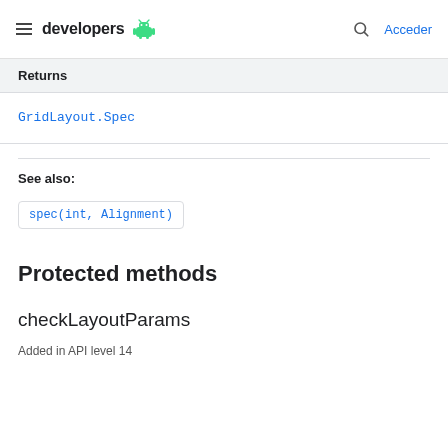developers  Acceder
| Returns |
| --- |
| GridLayout.Spec |
See also:
spec(int, Alignment)
Protected methods
checkLayoutParams
Added in API level 14